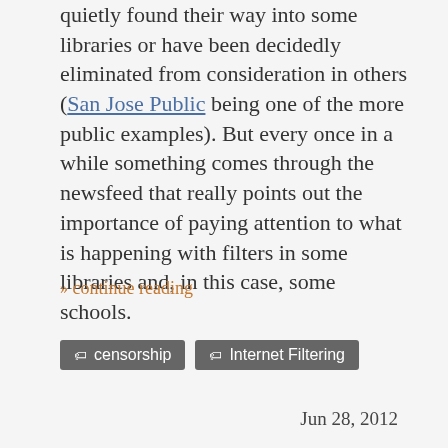quietly found their way into some libraries or have been decidedly eliminated from consideration in others (San Jose Public being one of the more public examples). But every once in a while something comes through the newsfeed that really points out the importance of paying attention to what is happening with filters in some libraries and, in this case, some schools.
» continue reading
censorship  Internet Filtering
Jun 28, 2012